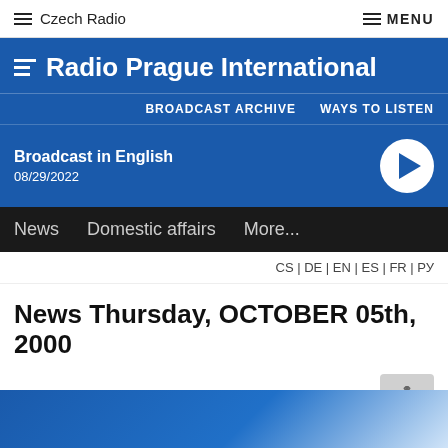Czech Radio | MENU
Radio Prague International
BROADCAST ARCHIVE | WAYS TO LISTEN
Broadcast in English
08/29/2022
News | Domestic affairs | More...
CS | DE | EN | ES | FR | PY
News Thursday, OCTOBER 05th, 2000
10/05/2000